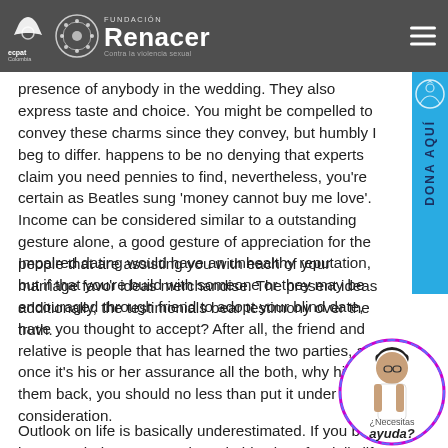Fundación Renacer - Contra la violencia sexual
presence of anybody in the wedding. They also express taste and choice. You might be compelled to convey these charms since they convey, but humbly I beg to differ. happens to be no denying that experts claim you need pennies to find, nevertheless, you're certain as Beatles sung 'money cannot buy me love'. Income can be considered similar to a outstanding gesture alone, a good gesture of appreciation for the people that are assisting you with each of your marriage favor ideas merchandise. The present ideas additionally, the testimonials bear testimony over the truth.
Impaired dating would have an unhealthy reputation, but if that you're build with someone or they may be encouraged through friend to adopt your blind date, have you thought to accept? After all, the friend and relative is people that has learned the two parties, and once it's his or her assurance all the both, why hit all of them back, you should no less than put it under consideration.
Outlook on life is basically underestimated. If you both have much the same goals and objectives for daily life